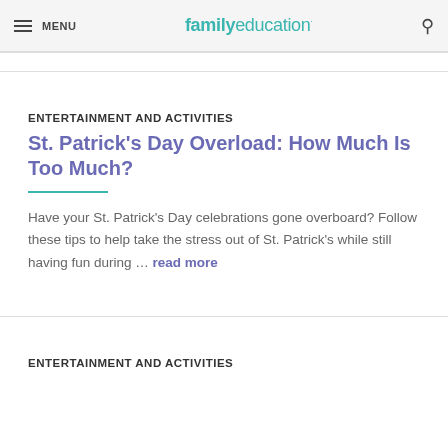MENU  familyeducation
ENTERTAINMENT AND ACTIVITIES
St. Patrick's Day Overload: How Much Is Too Much?
Have your St. Patrick's Day celebrations gone overboard? Follow these tips to help take the stress out of St. Patrick's while still having fun during … read more
ENTERTAINMENT AND ACTIVITIES